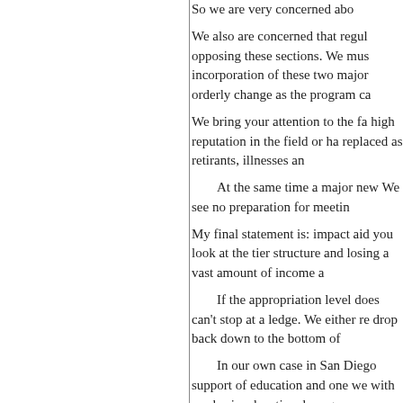So we are very concerned abo
We also are concerned that regul opposing these sections. We mus incorporation of these two major orderly change as the program ca
We bring your attention to the fa high reputation in the field or ha replaced as retirants, illnesses an
At the same time a major new We see no preparation for meetin
My final statement is: impact aid you look at the tier structure and losing a vast amount of income a
If the appropriation level does can't stop at a ledge. We either re drop back down to the bottom of
In our own case in San Diego support of education and one we with our basic educational progr
Thank you very much.
Chairman PERKINS. Mr. Husk